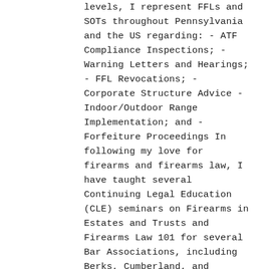levels, I represent FFLs and SOTs throughout Pennsylvania and the US regarding: - ATF Compliance Inspections; - Warning Letters and Hearings; - FFL Revocations; - Corporate Structure Advice - Indoor/Outdoor Range Implementation; and - Forfeiture Proceedings In following my love for firearms and firearms law, I have taught several Continuing Legal Education (CLE) seminars on Firearms in Estates and Trusts and Firearms Law 101 for several Bar Associations, including Berks, Cumberland, and Dauphin Counties. I also planned and taught several Firearms in Estates CLE classes for the Pennsylvania Bar Institute (PBI). While at Widener Law School, I was a member of the Widener Law Journal. I wrote an article on the Inaccuracy of the